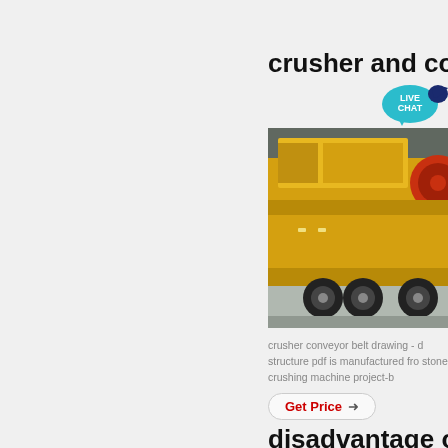crusher and conv
[Figure (photo): Large yellow mobile crusher and conveyor machine mounted on a multi-axle trailer, photographed in a warehouse/industrial setting.]
crusher conveyor belt drawing - d structure pdf is manufactured fro stone crushing machine project-b
Get Price →
disadvantage of b